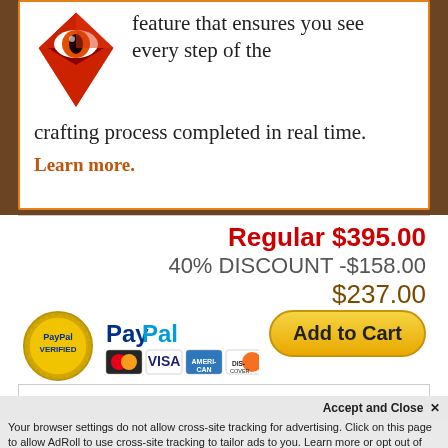[Figure (logo): Red diamond/eye logo icon for a service brand]
feature that ensures you see every step of the crafting process completed in real time.
Learn more.
Regular $395.00
40% DISCOUNT -$158.00
$237.00
Add to Cart
[Figure (logo): PayPal Verified gold badge seal]
[Figure (logo): PayPal logo with credit card logos: MasterCard, Visa, American Express, Discover]
Accept and Close ✕
Your browser settings do not allow cross-site tracking for advertising. Click on this page to allow AdRoll to use cross-site tracking to tailor ads to you. Learn more or opt out of this AdRoll tracking by clicking here. This message only appears once.